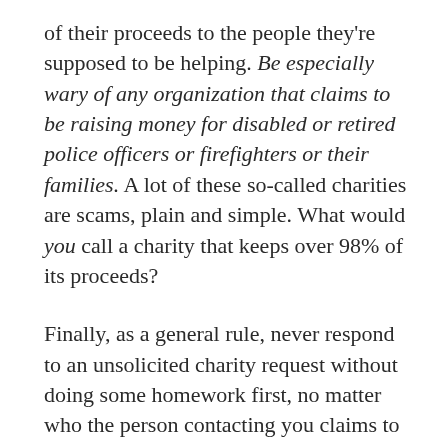of their proceeds to the people they're supposed to be helping. Be especially wary of any organization that claims to be raising money for disabled or retired police officers or firefighters or their families. A lot of these so-called charities are scams, plain and simple. What would you call a charity that keeps over 98% of its proceeds?
Finally, as a general rule, never respond to an unsolicited charity request without doing some homework first, no matter who the person contacting you claims to be. Know who you're donating to before you send a single dime.